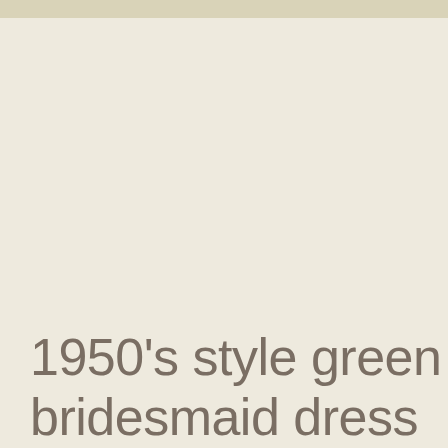1950's style green bridesmaid dress